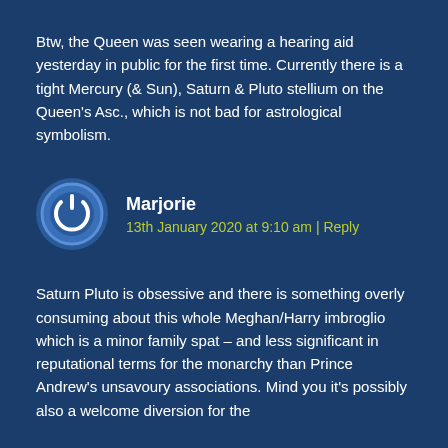Btw, the Queen was seen wearing a hearing aid yesterday in public for the first time. Currently there is a tight Mercury (& Sun), Saturn & Pluto stellium on the Queen's Asc., which is not bad for astrological symbolism.
[Figure (illustration): Circular avatar icon with a power symbol in the center, blue background with lighter blue border ring]
Marjorie
13th January 2020 at 9:10 am | Reply
Saturn Pluto is obsessive and there is something overly consuming about this whole Meghan/Harry imbroglio which is a minor family spat – and less significant in reputational terms for the monarchy than Prince Andrew's unsavoury associations. Mind you it's possibly also a welcome diversion for the